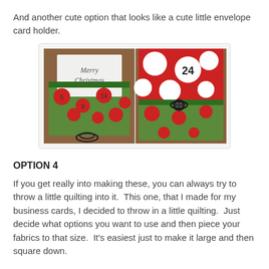And another cute option that looks like a cute little envelope card holder.
[Figure (photo): Two photos side by side of a Christmas fabric card holder: left shows front with 'Merry Christmas' card inserted, green polka-dot fabric with red circles showing numbers, and a paper clip; right shows back with red polka-dot fabric with number 24, green trim, and a dark button closure.]
OPTION 4
If you get really into making these, you can always try to throw a little quilting into it.  This one, that I made for my business cards, I decided to throw in a little quilting.  Just decide what options you want to use and then piece your fabrics to that size.  It's easiest just to make it large and then square down.